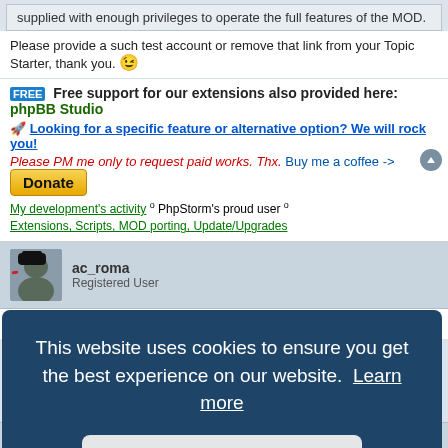supplied with enough privileges to operate the full features of the MOD.
Please provide a such test account or remove that link from your Topic Starter, thank you. 😉
FREE Free support for our extensions also provided here: phpBB Studio
🚀 Looking for a specific feature or alternative option? We will rock you!
Please PM me only to request paid works. Thx. Buy me a coffee -> Donate
My development's activity ° PhpStorm's proud user °
Extensions, Scripts, MOD porting, Update/Upgrades
ac_roma
Registered User
Re: [BETA] Thank Post Mod 0.2.2
This website uses cookies to ensure you get the best experience on our website. Learn more
Got it!
geoffreak